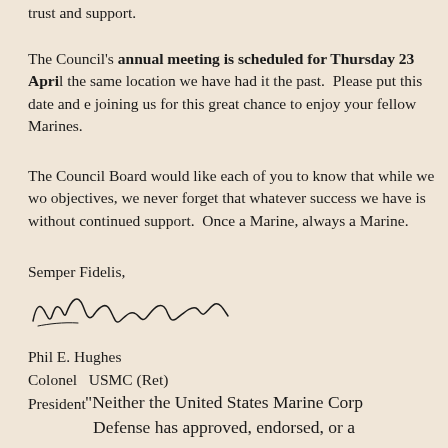trust and support.
The Council's annual meeting is scheduled for Thursday 23 April the same location we have had it the past.  Please put this date and e joining us for this great chance to enjoy your fellow Marines.
The Council Board would like each of you to know that while we wo objectives, we never forget that whatever success we have is without continued support.  Once a Marine, always a Marine.
Semper Fidelis,
[Figure (other): Handwritten signature of Phil E. Hughes]
Phil E. Hughes
Colonel   USMC (Ret)
President
"Neither the United States Marine Corp Defense has approved, endorsed, or a